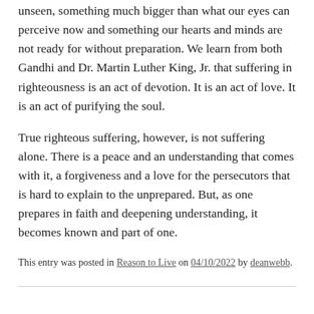unseen, something much bigger than what our eyes can perceive now and something our hearts and minds are not ready for without preparation. We learn from both Gandhi and Dr. Martin Luther King, Jr. that suffering in righteousness is an act of devotion. It is an act of love. It is an act of purifying the soul.
True righteous suffering, however, is not suffering alone. There is a peace and an understanding that comes with it, a forgiveness and a love for the persecutors that is hard to explain to the unprepared. But, as one prepares in faith and deepening understanding, it becomes known and part of one.
This entry was posted in Reason to Live on 04/10/2022 by deanwebb.